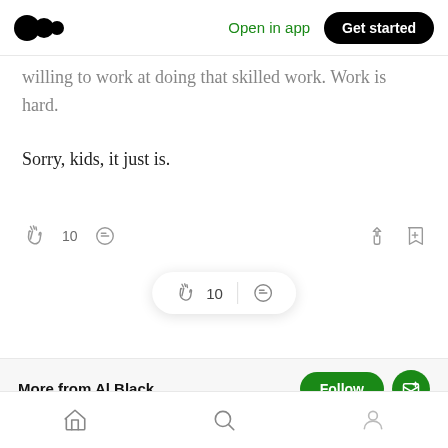Medium — Open in app | Get started
willing to work at doing that skilled work. Work is hard.
Sorry, kids, it just is.
👏 10  💬  [share] [bookmark+]
More from Al Black
[home] [search] [profile]